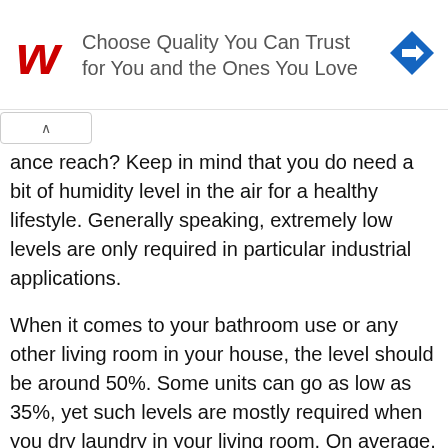[Figure (logo): Walgreens 'W' logo in red script, Walgreens brand advertisement banner reading 'Choose Quality You Can Trust for You and the Ones You Love' with a blue navigation/directions diamond icon on the right]
ance reach? Keep in mind that you do need a bit of humidity level in the air for a healthy lifestyle. Generally speaking, extremely low levels are only required in particular industrial applications.
When it comes to your bathroom use or any other living room in your house, the level should be around 50%. Some units can go as low as 35%, yet such levels are mostly required when you dry laundry in your living room. On average, a domestic appliance can easily get to 45%, which